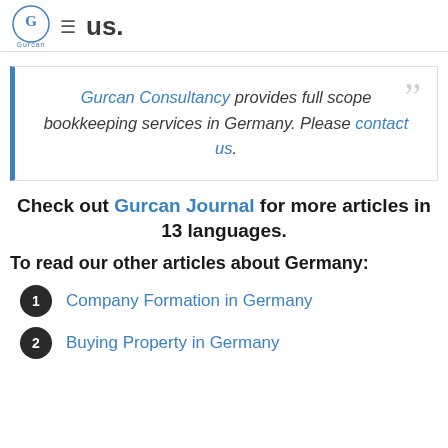us.
Gurcan Consultancy provides full scope bookkeeping services in Germany. Please contact us.
Check out Gurcan Journal for more articles in 13 languages.
To read our other articles about Germany:
1 Company Formation in Germany
2 Buying Property in Germany